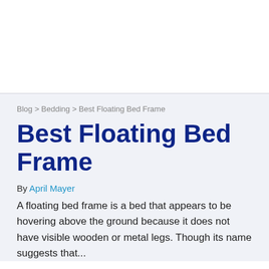Blog > Bedding > Best Floating Bed Frame
Best Floating Bed Frame
By April Mayer
A floating bed frame is a bed that appears to be hovering above the ground because it does not have visible wooden or metal legs. Though its name suggests that...